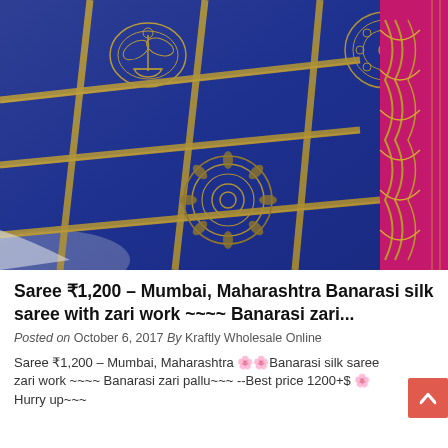[Figure (photo): Photo of a folded blue Banarasi silk saree with gold zari work forming a grid pattern with floral and medallion motifs. The edge shows a pink/magenta border with gold zari embroidery.]
Saree ₹1,200 – Mumbai, Maharashtra Banarasi silk saree with zari work ~~~~ Banarasi zari...
Posted on October 6, 2017 By Kraftly Wholesale Online
Saree ₹1,200 – Mumbai, Maharashtra 🌸🌸Banarasi silk saree zari work ~~~~ Banarasi zari pallu~~~ --Best price 1200+$ 🌸 Hurry up~~~